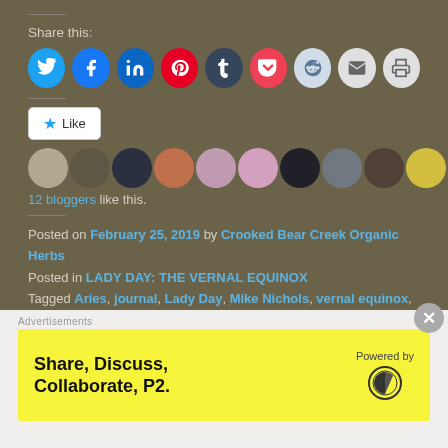Share this:
[Figure (infographic): Row of social media sharing icon circles: Twitter (blue), Facebook (blue), LinkedIn (dark blue), Pinterest (red), Tumblr (dark navy), Pocket (red), Reddit (light blue), Email (light gray), Print (light gray)]
[Figure (infographic): Like button widget with star icon and 10 blogger avatar thumbnails in a horizontal strip]
12 bloggers like this.
Posted on February 25, 2019 by Crooked Bear Creek Organic Herbs
Posted in LADY DAY: THE VERNAL EQUINOX
Tagged Aries, journal, Lady Day, Mike Nichols, vernal equinox, Witches Sabbats.
1 Comment
[Figure (infographic): Advertisement banner: 'Share, Discuss, Collaborate, P2.' on yellow background, Powered by WordPress logo on the right. Close button (X) overlay at top right.]